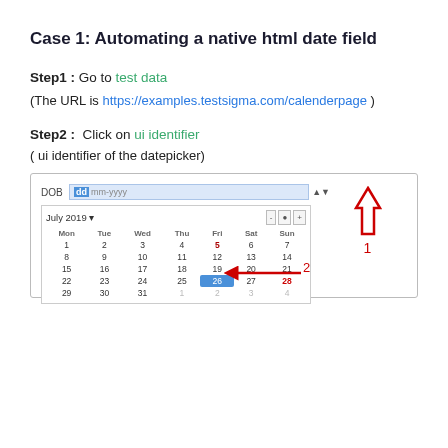Case 1: Automating a native html date field
Step1 : Go to test data
(The URL is https://examples.testsigma.com/calenderpage )
Step2:  Click on ui identifier
( ui identifier of the datepicker)
[Figure (screenshot): Screenshot of a date picker UI showing a DOB field with 'dd-mm-yyyy' placeholder. A calendar popup is open showing July 2019. Red arrow #1 points to the spinner control at top right of the input. Red arrow #2 points to a date row (week of 22-28) in the calendar.]